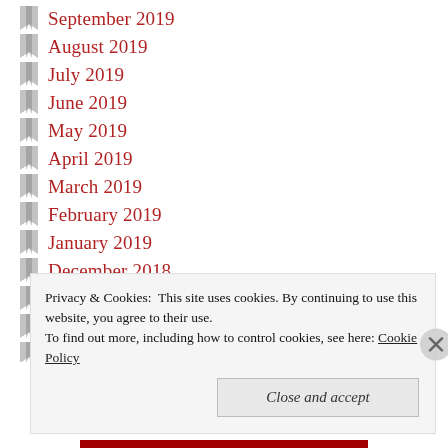September 2019
August 2019
July 2019
June 2019
May 2019
April 2019
March 2019
February 2019
January 2019
December 2018
November 2018
October 2018
September 2018 (partial)
Privacy & Cookies: This site uses cookies. By continuing to use this website, you agree to their use. To find out more, including how to control cookies, see here: Cookie Policy
Close and accept